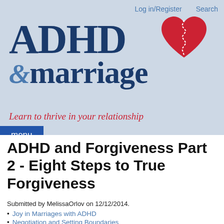Log in/Register   Search
[Figure (logo): ADHD & marriage logo with a broken red heart icon stitched together]
Learn to thrive in your relationship
menu
ADHD and Forgiveness Part 2 - Eight Steps to True Forgiveness
Submitted by MelissaOrlov on 12/12/2014.
Joy in Marriages with ADHD
Negotiation and Setting Boundaries